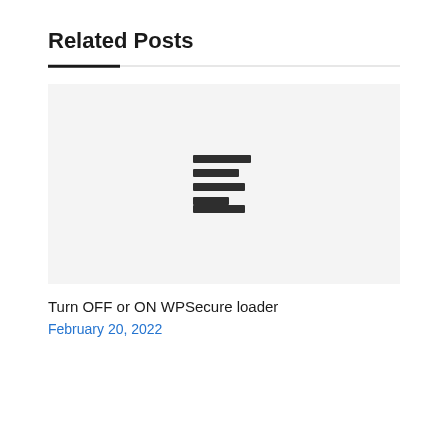Related Posts
[Figure (illustration): Placeholder image with a document/lines icon on a light gray background]
Turn OFF or ON WPSecure loader
February 20, 2022